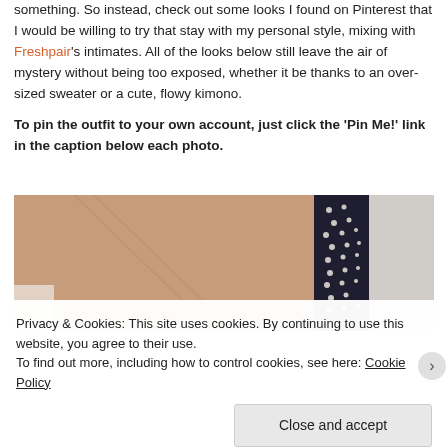something. So instead, check out some looks I found on Pinterest that I would be willing to try that stay with my personal style, mixing with Freshpair's intimates. All of the looks below still leave the air of mystery without being too exposed, whether it be thanks to an over-sized sweater or a cute, flowy kimono.
To pin the outfit to your own account, just click the 'Pin Me!' link in the caption below each photo.
[Figure (photo): Close-up photo of a woman's back/shoulder area showing skin and a dark floral/studded bra strap]
Privacy & Cookies: This site uses cookies. By continuing to use this website, you agree to their use. To find out more, including how to control cookies, see here: Cookie Policy
Close and accept